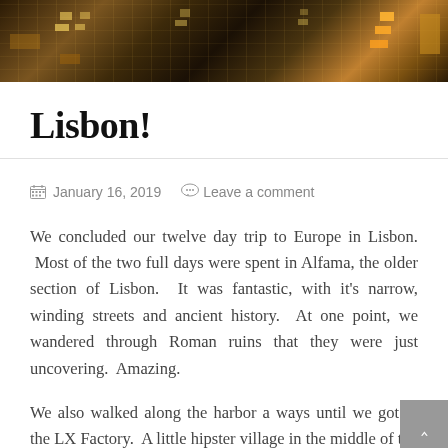[Figure (photo): Nighttime cityscape header photo showing illuminated building facades with warm orange/yellow lights against a dark sky]
Lisbon!
January 16, 2019   Leave a comment
We concluded our twelve day trip to Europe in Lisbon.  Most of the two full days were spent in Alfama, the older section of Lisbon.  It was fantastic, with it's narrow, winding streets and ancient history.  At one point, we wandered through Roman ruins that they were just uncovering.  Amazing.
We also walked along the harbor a ways until we got to the LX Factory.  A little hipster village in the middle of the city.  We had one of the best meals of the trip there at 1300 Taberna.  We were then blown away by the size and scope of the Museum of Modern Art.  I was